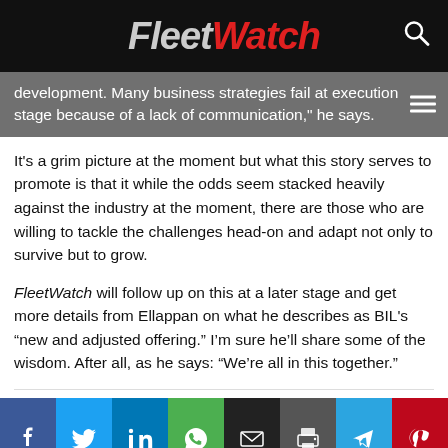FleetWatch
development. Many business strategies fail at execution stage because of a lack of communication," he says.
It's a grim picture at the moment but what this story serves to promote is that it while the odds seem stacked heavily against the industry at the moment, there are those who are willing to tackle the challenges head-on and adapt not only to survive but to grow.
FleetWatch will follow up on this at a later stage and get more details from Ellappan on what he describes as BIL's “new and adjusted offering.” I’m sure he’ll share some of the wisdom. After all, as he says: “We’re all in this together.”
[Figure (infographic): Social media sharing buttons row: Facebook, Twitter, LinkedIn, WhatsApp, Email, Print, Telegram, Pinterest]